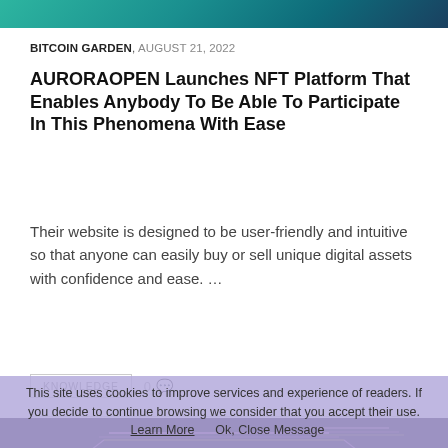[Figure (photo): Top banner image with teal/blue-green gradient color]
BITCOIN GARDEN, AUGUST 21, 2022
AURORAOPEN Launches NFT Platform That Enables Anybody To Be Able To Participate In This Phenomena With Ease
Their website is designed to be user-friendly and intuitive so that anyone can easily buy or sell unique digital assets with confidence and ease. …
KNOWLEDGE   0 💬
[Figure (screenshot): Dark purple banner with neon lines and text WWW.COINAGENDA.COM]
This site uses cookies to improve services and experience of readers. If you decide to continue browsing we consider that you accept their use.   Learn More      Ok, Close Message